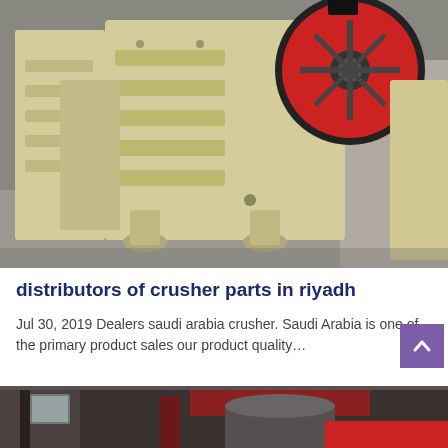[Figure (photo): Industrial jaw crusher machine in beige/cream color with a large red and black flywheel, photographed in a factory/warehouse setting with concrete floor. Multiple crusher units visible.]
distributors of crusher parts in riyadh
Jul 30, 2019 Dealers saudi arabia crusher. Saudi Arabia is one of the primary product sales our product quality…
[Figure (photo): Industrial heavy machinery in a factory setting, showing large cylindrical equipment and red structural elements, partially visible at bottom of page.]